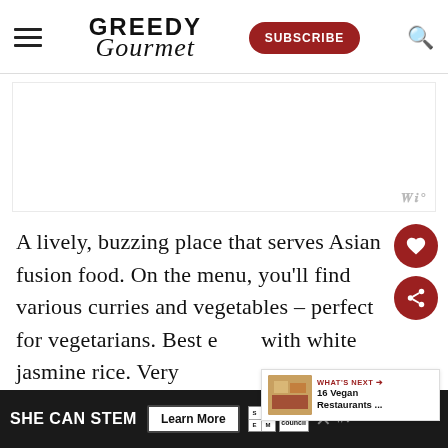Greedy Gourmet — SUBSCRIBE
[Figure (other): Advertisement placeholder block (white rectangle with watermark logo)]
A lively, buzzing place that serves Asian fusion food. On the menu, you'll find various curries and vegetables – perfect for vegetarians. Best e[aten] with white jasmine rice. Very
[Figure (infographic): WHAT'S NEXT arrow label with thumbnail image and text '16 Vegan Restaurants ...']
[Figure (infographic): Bottom advertisement bar: SHE CAN STEM — Learn More button — STEM logo — Ad Council logo — close X button — watermark]